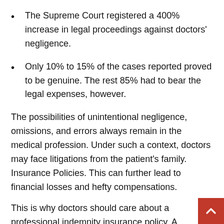The Supreme Court registered a 400% increase in legal proceedings against doctors' negligence.
Only 10% to 15% of the cases reported proved to be genuine. The rest 85% had to bear the legal expenses, however.
The possibilities of unintentional negligence, omissions, and errors always remain in the medical profession. Under such a context, doctors may face litigations from the patient's family. Insurance Policies. This can further lead to financial losses and hefty compensations.
This is why doctors should care about a professional indemnity insurance policy. A comprehensive plan covers the expenses involved in lawyer appointments, court charges, investigations, etc.